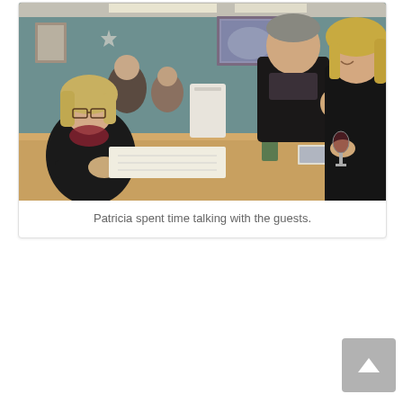[Figure (photo): Indoor photo of people at a gathering or book signing event. A woman with blonde hair and glasses sits at a wooden table, writing or signing something, wearing a black top with a floral scarf. Two other people stand across the table — a taller person in a dark jacket and a woman with blonde hair in a black coat holding a wine glass. The background shows a teal/green painted room with framed artwork on the walls, other guests visible in the background, and overhead fluorescent lighting.]
Patricia spent time talking with the guests.